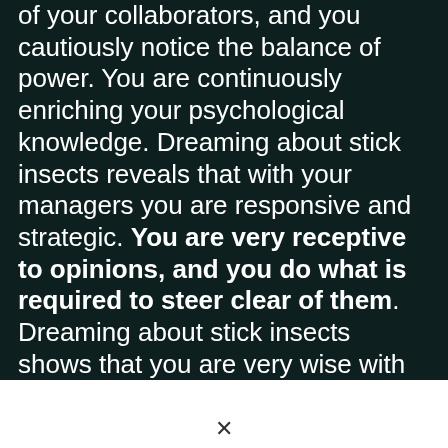of your collaborators, and you cautiously notice the balance of power. You are continuously enriching your psychological knowledge. Dreaming about stick insects reveals that with your managers you are responsive and strategic. You are very receptive to opinions, and you do what is required to steer clear of them. Dreaming about stick insects shows that you are very wise with your managers. You are admirably good at suggesting the most functional compromises for you...
×